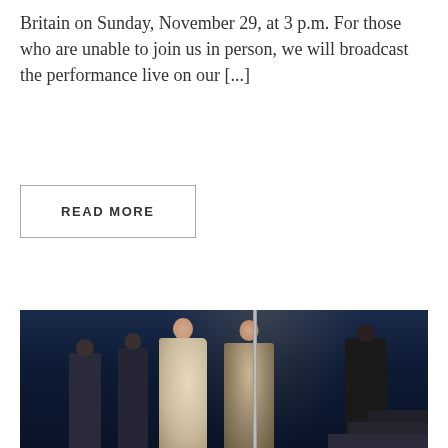Britain on Sunday, November 29, at 3 p.m. For those who are unable to join us in person, we will broadcast the performance live on our [...]
READ MORE
[Figure (photo): Theater stage performance photo showing opera or classical stage production. Several figures on a dark stage with blue lighting. A woman in a white dress and a man in period costume stand center stage, flanked by other performers in dark robes. A tall pole or staff is held by the male figure. Steps visible at lower right.]